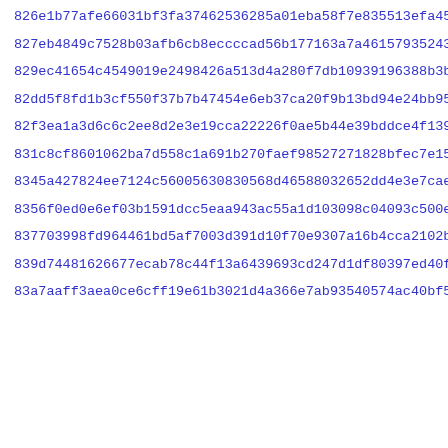826e1b77afe66031bf3fa37462536285a01eba58f7e835513efa455034112
827eb4849c7528b03afb6cb8eccccad56b177163a7a46157935243fe0c46b
829ec41654c4549019e2498426a513d4a280f7db10939196388b3b1efa5ab
82dd5f8fd1b3cf550f37b7b47454e6eb37ca20f9b13bd94e24bb95db498e8
82f3ea1a3d6c6c2ee8d2e3e19cca22226f0ae5b44e39bddce4f1396639c552
831c8cf8601062ba7d558c1a691b270faef98527271828bfec7e15ebe451a
8345a427824ee7124c560056308305686d46588032656dd4e3e7cae97e54f15
8356f0ed0e6ef03b1591dcc5eaa943ac55a1d103098c04093c500e000ea4d
837703998fd964461bd5af7003d391d10f70e9307a16b4cca2102b732dcc4
839d74481626677ecab78c44f13a6439693cd247d1df80397ed40f3a74a60
83a7aaff3aea0ce6cff19e61b3021d4a366e7ab93540574ac40bf56783da4